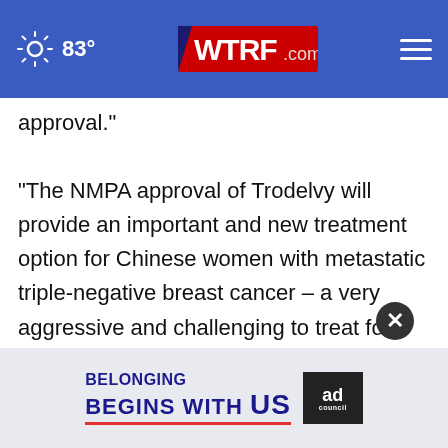83° WTRF.com
approval."
"The NMPA approval of Trodelvy will provide an important and new treatment option for Chinese women with metastatic triple-negative breast cancer – a very aggressive and challenging to treat form of the disease. We would like to thank the investigators and patients who participated in the clinical trials for making this possible," said Yang Shi Chief Medical... at Everest Medicines. "we will continue to work
[Figure (infographic): Ad banner: 'Belonging Begins With US' with Ad Council logo]